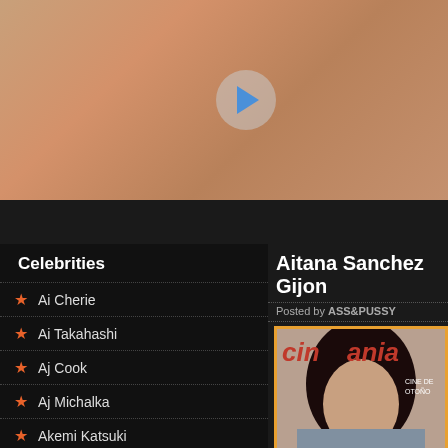[Figure (photo): Close-up photo of skin with a video play button overlay, shown in a media player interface]
[Figure (screenshot): Video player controls bar with back/forward buttons and a progress bar]
Celebrities
Ai Cherie
Ai Takahashi
Aj Cook
Aj Michalka
Akemi Katsuki
Akiko Yada
Akina Aoshima
Akira Torii
Aki Hoshino
Aki Toyosaki
Aitana Sanchez Gijon
Posted by ASS&PUSSY
[Figure (photo): Magazine cover of Cinemania featuring Aitana Sanchez Gijon]